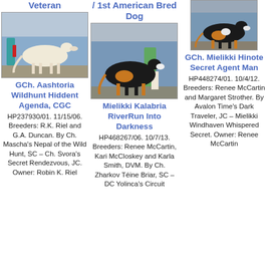Veteran
[Figure (photo): A light-colored borzoi dog being shown, standing on a mat with a handler visible.]
GCh. Aashtoria Wildhunt Hiddent Agenda, CGC
HP237930/01. 11/15/06. Breeders: R.K. Riel and G.A. Duncan. By Ch. Mascha's Nepal of the Wild Hunt, SC – Ch. Svora's Secret Rendezvous, JC. Owner: Robin K. Riel
/ 1st American Bred Dog
[Figure (photo): A dark tri-colored borzoi dog being shown at a dog show.]
Mielikki Kalabria RiverRun Into Darkness
HP468267/06. 10/7/13. Breeders: Renee McCartin, Kari McCloskey and Karla Smith, DVM. By Ch. Zharkov Téine Briar, SC – DC Yolinca's Circuit
[Figure (photo): A tricolor borzoi dog standing at a dog show, partial view.]
GCh. Mielikki Hinote Secret Agent Man
HP448274/01. 10/4/12. Breeders: Renee McCartin and Margaret Strother. By Avalon Time's Dark Traveler, JC – Mielikki Windhaven Whispered Secret. Owner: Renee McCartin